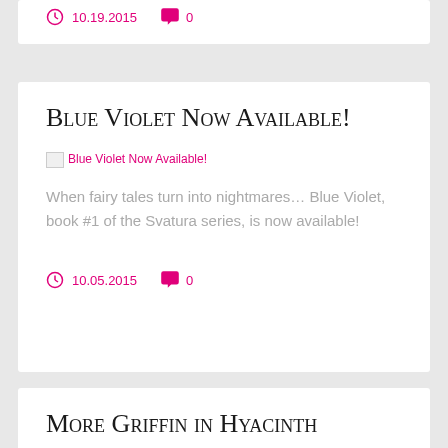10.19.2015  0
Blue Violet Now Available!
[Figure (other): Broken image placeholder with alt text 'Blue Violet Now Available!']
When fairy tales turn into nightmares… Blue Violet, book #1 of the Svatura series, is now available!
10.05.2015  0
More Griffin in Hyacinth